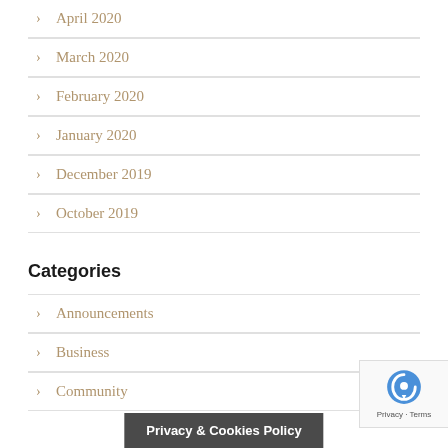> April 2020
> March 2020
> February 2020
> January 2020
> December 2019
> October 2019
Categories
> Announcements
> Business
> Community
Privacy & Cookies Policy